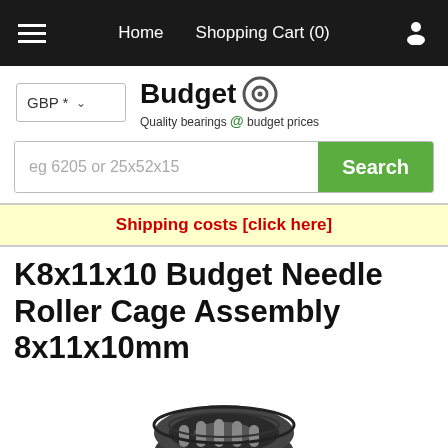Home  Shopping Cart (0)
[Figure (logo): Budget Bearings logo with bearing icon and tagline 'Quality bearings @ budget prices']
eg 6205 or 25x52x15  Search
Shipping costs [click here]
K8x11x10 Budget Needle Roller Cage Assembly 8x11x10mm
[Figure (photo): Close-up photo of a K8x11x10 needle roller cage assembly bearing, dark metallic color, showing cylindrical roller elements inside the cage]